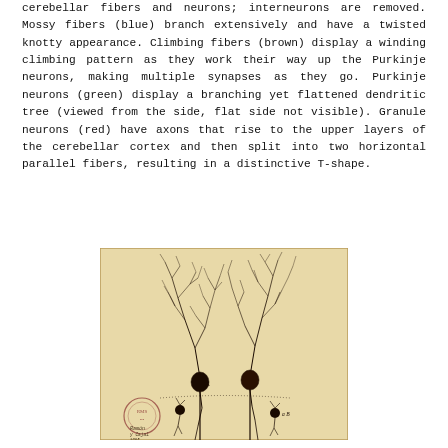cerebellar fibers and neurons; interneurons are removed. Mossy fibers (blue) branch extensively and have a twisted knotty appearance. Climbing fibers (brown) display a winding climbing pattern as they work their way up the Purkinje neurons, making multiple synapses as they go. Purkinje neurons (green) display a branching yet flattened dendritic tree (viewed from the side, flat side not visible). Granule neurons (red) have axons that rise to the upper layers of the cerebellar cortex and then split into two horizontal parallel fibers, resulting in a distinctive T-shape.
[Figure (illustration): Historical scientific illustration (likely by Ramón y Cajal) showing cerebellar neurons on aged/yellowed paper with a circular stamp in the lower left corner and handwritten notes at the bottom. The drawing depicts branching neurons with elaborate dendritic trees extending upward, connected cell bodies in the middle, and axons descending below.]